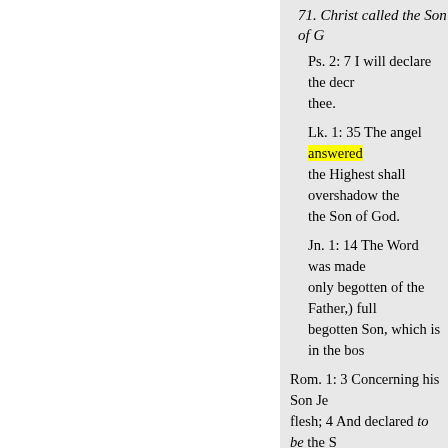71. Christ called the Son of G[od]
Ps. 2: 7 I will declare the decre[e]... thee.
Lk. 1: 35 The angel answered ... the Highest shall overshadow the[e]... the Son of God.
Jn. 1: 14 The Word was made ... only begotten of the Father,) full ... begotten Son, which is in the bos[om]
Rom. 1: 3 Concerning his Son Je[sus]... flesh; 4 And declared to be the S[on]... resurrection from the dead.
Gal. 4: 4 When the fulness of the[time]... law.
Heb. 1: 5 Unto which of the ange[ls]... again, I will be to him a Father, a[nd]... begotten into the world, he saith,[And let]... to his Father.
Jn. 6: 38 I came down from he[aven]... Jesus answered them, and said, M[y]